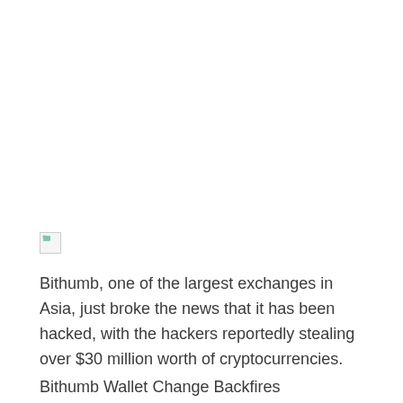[Figure (photo): Broken/missing image placeholder icon]
Bithumb, one of the largest exchanges in Asia, just broke the news that it has been hacked, with the hackers reportedly stealing over $30 million worth of cryptocurrencies.
Bithumb Wallet Change Backfires